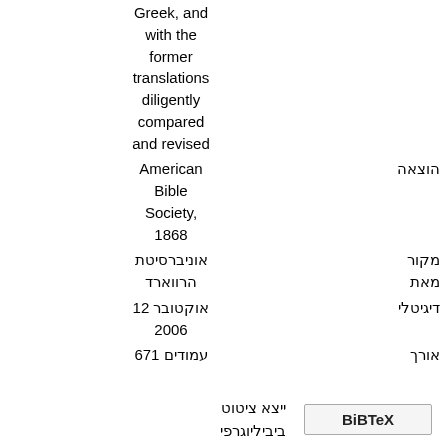| label | value |
| --- | --- |
|  | Greek, and with the former translations diligently compared and revised |
| הוצאה | American Bible Society, 1868 |
| מקור מאת | אוניברסיטת הרווארד |
| דיגיטלי | 12 אוקטובר 2006 |
| אורך | 671 עמודים |
ייצא ציטוט ביביליוגרפי
BiBTeX
EndNote